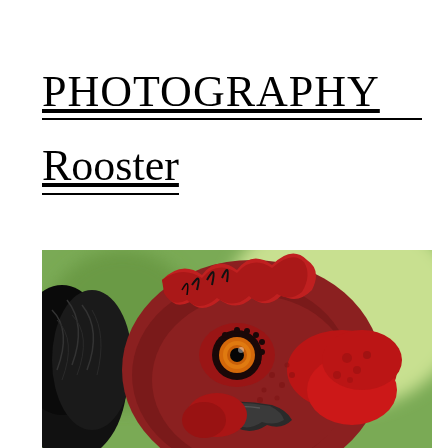PHOTOGRAPHY
Rooster
[Figure (photo): Close-up portrait photograph of a rooster's head. The rooster has a large dark red/crimson comb and wattles, black feathers on the neck and head sides, a striking orange-amber eye with black pupil and dotted eyelid ring, dark textured red facial skin, and a dark curved beak. The background is a soft blurred green, suggesting an outdoor setting.]